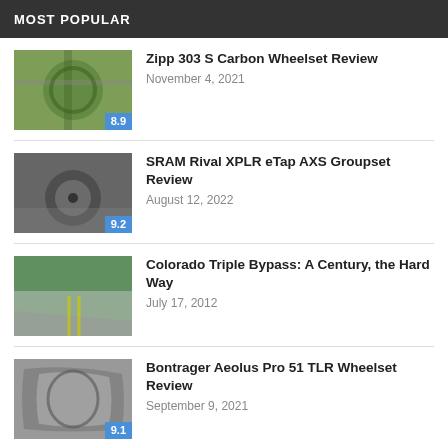MOST POPULAR
Zipp 303 S Carbon Wheelset Review
SRAM Rival XPLR eTap AXS Groupset Review
Colorado Triple Bypass: A Century, the Hard Way
Bontrager Aeolus Pro 51 TLR Wheelset Review